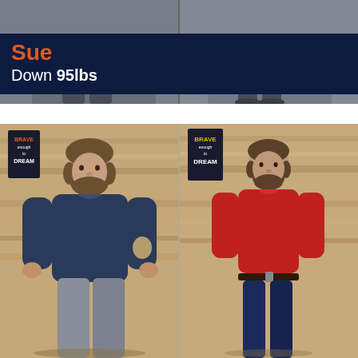[Figure (photo): Before and after weight loss comparison photos of a person named Sue, top portion showing legs/lower body]
Sue
Down 95lbs
[Figure (photo): Before and after weight loss comparison photos of a bearded man. Left (before): heavier, wearing navy long-sleeve shirt and grey jeans. Right (after): slimmer, wearing red t-shirt and dark blue jeans. Background is wood-paneled wall with a 'Brave Enough to Dream' sign.]